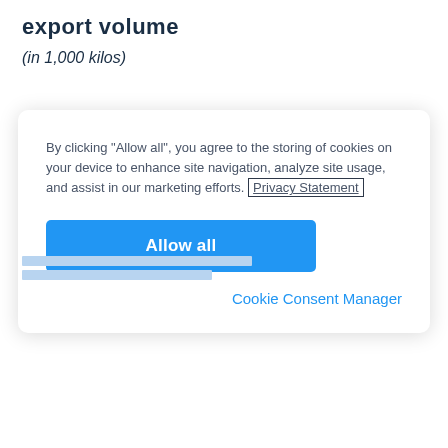export volume
(in 1,000 kilos)
By clicking “Allow all”, you agree to the storing of cookies on your device to enhance site navigation, analyze site usage, and assist in our marketing efforts. Privacy Statement
Allow all
Cookie Consent Manager